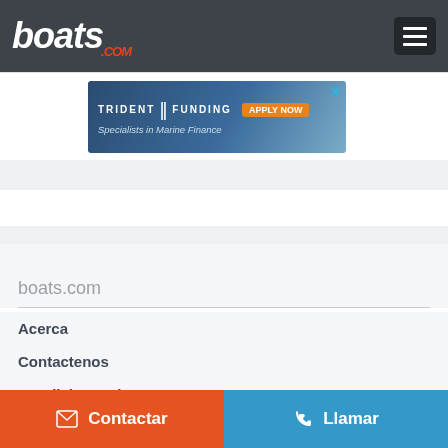boats.com
[Figure (screenshot): Trident Funding advertisement banner - Specialists in Marine Finance with APPLY NOW button]
boats.com
Acerca
Contactenos
Condiciones de uso
Declaración de Privacidad
Contactar
Llamar